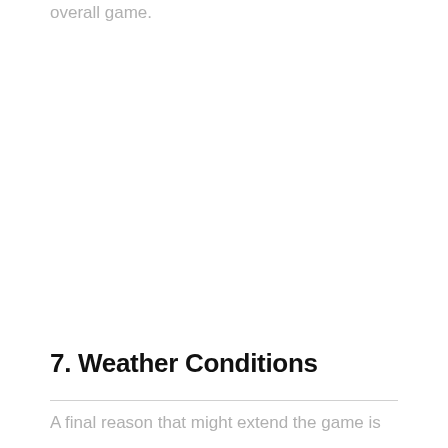overall game.
7. Weather Conditions
A final reason that might extend the game is